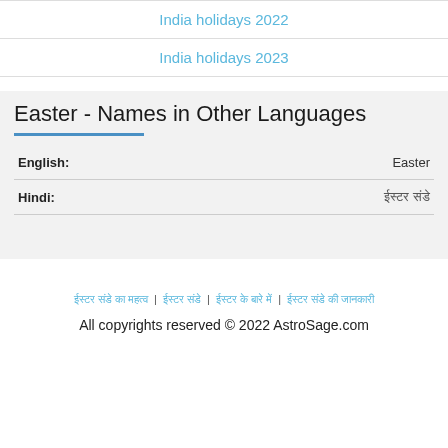India holidays 2022
India holidays 2023
Easter - Names in Other Languages
| Language | Name |
| --- | --- |
| English: | Easter |
| Hindi: | ईस्टर संडे |
ईस्टर संडे का महत्व | ईस्टर संडे | ईस्टर के बारे में | ईस्टर संडे की जानकारी | All copyrights reserved © 2022 AstroSage.com